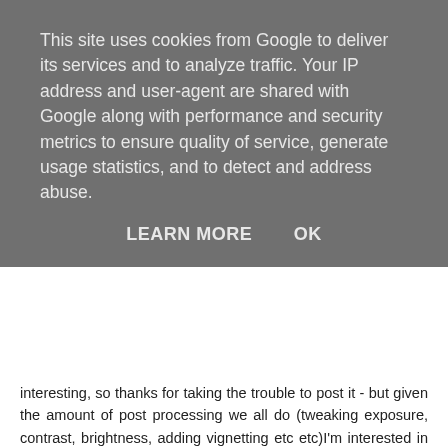This site uses cookies from Google to deliver its services and to analyze traffic. Your IP address and user-agent are shared with Google along with performance and security metrics to ensure quality of service, generate usage statistics, and to detect and address abuse.
LEARN MORE    OK
interesting, so thanks for taking the trouble to post it - but given the amount of post processing we all do (tweaking exposure, contrast, brightness, adding vignetting etc etc)I'm interested in what you and others think about how accurately it relates to the finished image we see published? Can we learn anything about an image from the EXIF if we only see the finished image and not as captured?
Cheers.
Simon
Reply